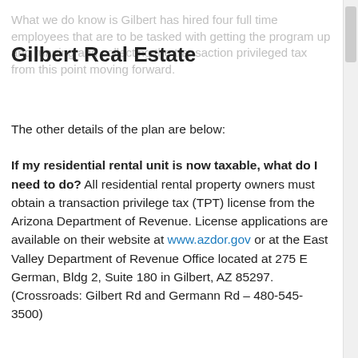What we do know is Gilbert has hired four full time employees that are to be tasked with getting the program up and running and collecting the transaction privileged tax from this point moving forward.
Gilbert Real Estate
The other details of the plan are below:
If my residential rental unit is now taxable, what do I need to do? All residential rental property owners must obtain a transaction privilege tax (TPT) license from the Arizona Department of Revenue. License applications are available on their website at www.azdor.gov or at the East Valley Department of Revenue Office located at 275 E German, Bldg 2, Suite 180 in Gilbert, AZ 85297.
(Crossroads: Gilbert Rd and Germann Rd – 480-545-3500)